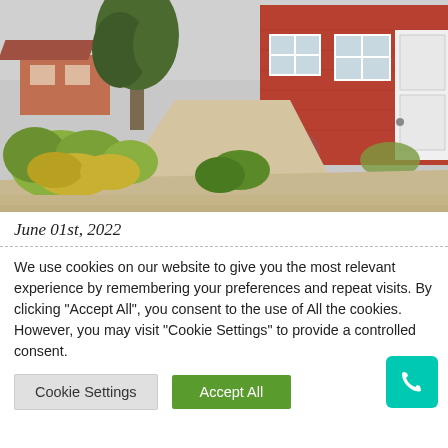[Figure (photo): Photo of a red-brick cottage with a gravel driveway lined with manicured hedges and flowering plants, large white front door visible on the right, trees in background]
June 01st, 2022
We use cookies on our website to give you the most relevant experience by remembering your preferences and repeat visits. By clicking "Accept All", you consent to the use of All the cookies. However, you may visit "Cookie Settings" to provide a controlled consent.